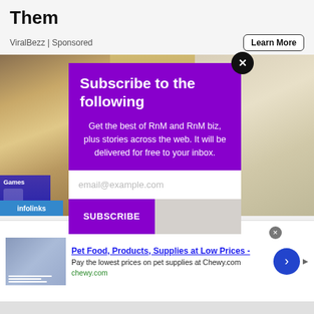Them
ViralBezz | Sponsored
Learn More
[Figure (photo): Food image background showing spices, lemon, garlic in rustic setting]
Subscribe to the following
Get the best of RnM and RnM biz, plus stories across the web. It will be delivered for free to your inbox.
email@example.com
SUBSCRIBE
Pet Food, Products, Supplies at Low Prices -
Pay the lowest prices on pet supplies at Chewy.com
chewy.com